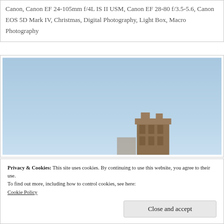Canon, Canon EF 24-105mm f/4L IS II USM, Canon EF 28-80 f/3.5-5.6, Canon EOS 5D Mark IV, Christmas, Digital Photography, Light Box, Macro Photography
[Figure (photo): A photograph showing a building top against a clear blue sky. The upper portion is dominated by pale blue sky and the lower portion shows the top of a brick building.]
Privacy & Cookies: This site uses cookies. By continuing to use this website, you agree to their use.
To find out more, including how to control cookies, see here:
Cookie Policy